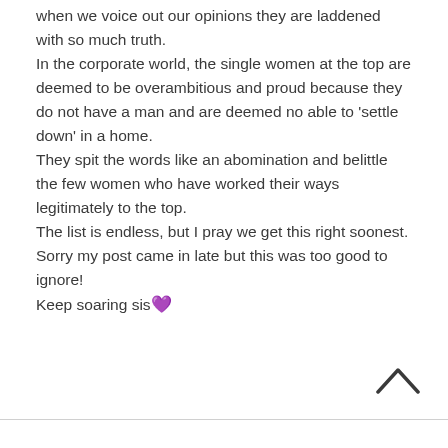when we voice out our opinions they are laddened with so much truth.
In the corporate world, the single women at the top are deemed to be overambitious and proud because they do not have a man and are deemed no able to 'settle down' in a home.
They spit the words like an abomination and belittle the few women who have worked their ways legitimately to the top.
The list is endless, but I pray we get this right soonest.
Sorry my post came in late but this was too good to ignore!
Keep soaring sis💜